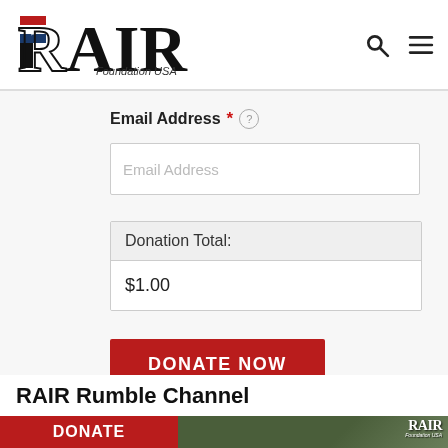RAIR Foundation USA
Email Address *
Email Address (placeholder)
| Donation Total: |
| --- |
| $1.00 |
DONATE NOW
RAIR Rumble Channel
DONATE
[Figure (photo): Video thumbnail showing outdoor scene with RAIR Foundation USA logo overlay]